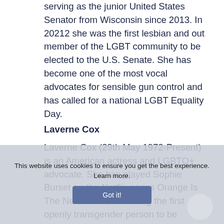serving as the junior United States Senator from Wisconsin since 2013. In 20212 she was the first lesbian and out member of the LGBT community to be elected to the U.S. Senate. She has become one of the most vocal advocates for sensible gun control and has called for a national LGBT Equality Day.
Laverne Cox
Laverne Cox (29th May 1972-Present) is an American actress and LGBTQ+ advocate. She has played Sophie Burset on the Netflix series Orange Is The New Black, becoming the first openly transgender person to be nominated a PrimeTime Emmy Award in any a category. Moreover, she is the first
This website uses cookies to ensure you get the best experience. Learn more.